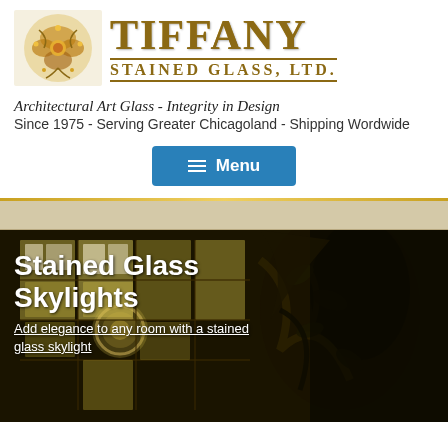[Figure (logo): Tiffany Stained Glass Ltd. logo with golden floral emblem and stylized text]
Architectural Art Glass - Integrity in Design
Since 1975 - Serving Greater Chicagoland - Shipping Wordwide
[Figure (other): Blue menu navigation button with hamburger icon and 'Menu' text]
[Figure (photo): Photograph of stained glass skylight panels with floral/botanical design in yellow, green and white, with dark foliage overlay]
Stained Glass Skylights
Add elegance to any room with a stained glass skylight